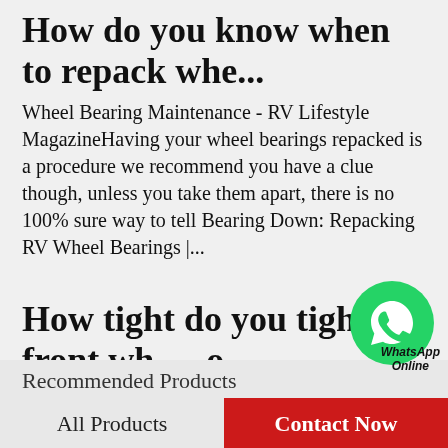How do you know when to repack whe...
Wheel Bearing Maintenance - RV Lifestyle MagazineHaving your wheel bearings repacked is a procedure we recommend you have a clue though, unless you take them apart, there is no 100% sure way to tell Bearing Down: Repacking RV Wheel Bearings |...
How tight do you tighten front wh...o...
[Figure (logo): WhatsApp green circle icon with phone handset, labeled 'WhatsApp Online']
Tight, but Not Too Tight With Wheel Bearing AdjustmentsJan 17, 2019 — Wheel bearing adjustment can be a finicky process with uncertain results That's the tolerance you're toying with when adjusting wheel bearings. This could lead to a...
Recommended Products
All Products
Contact Now